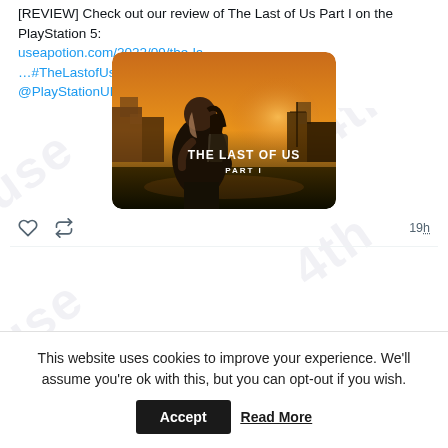[REVIEW] Check out our review of The Last of Us Part I on the PlayStation 5: useapotion.com/2022/09/the-la …#TheLastofUsPartI #PlayStation5 | @PlayStationUK @Naughty_Dog
[Figure (photo): The Last of Us Part I game cover art showing a young woman with a backpack in profile against a post-apocalyptic sunset backdrop with the game title text]
19h
This website uses cookies to improve your experience. We'll assume you're ok with this, but you can opt-out if you wish.
Accept
Read More